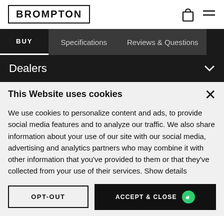BROMPTON
BUY  Specifications  Reviews & Questions
Dealers
This Website uses cookies
We use cookies to personalize content and ads, to provide social media features and to analyze our traffic. We also share information about your use of our site with our social media, advertising and analytics partners who may combine it with other information that you've provided to them or that they've collected from your use of their services. Show details
OPT-OUT
ACCEPT & CLOSE